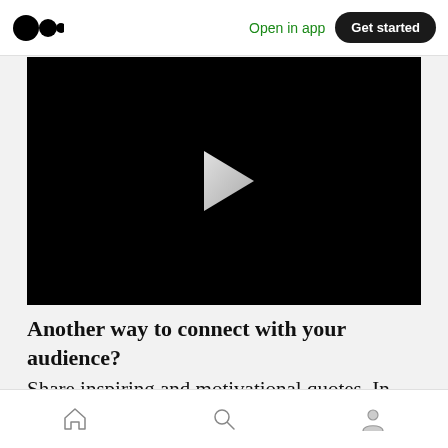Medium logo | Open in app | Get started
[Figure (screenshot): Black video player with a white play button triangle in the center]
Another way to connect with your audience?
Share inspiring and motivational quotes. In fact
Home | Search | Profile navigation icons